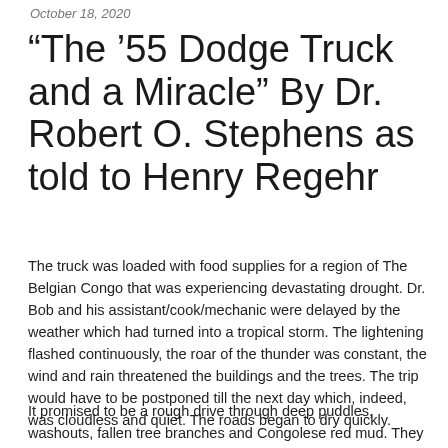October 18, 2020
“The ’55 Dodge Truck and a Miracle” By Dr. Robert O. Stephens as told to Henry Regehr
The truck was loaded with food supplies for a region of The Belgian Congo that was experiencing devastating drought. Dr. Bob and his assistant/cook/mechanic were delayed by the weather which had turned into a tropical storm. The lightening flashed continuously, the roar of the thunder was constant, the wind and rain threatened the buildings and the trees. The trip would have to be postponed till the next day which, indeed, was cloudless and quiet. The roads began to dry quickly.
It promised to be a rough drive through deep puddles, washouts, fallen tree branches and Congolese red mud. They